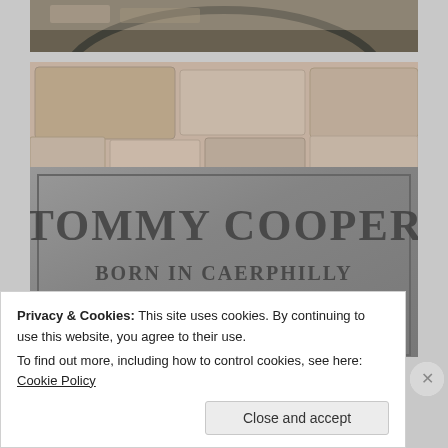[Figure (photo): Top portion of a memorial statue or plaque, showing a dark curved circular element against a stone/brick background]
[Figure (photo): A bronze or stone memorial plaque set into a stone wall, reading 'TOMMY COOPER BORN IN CAERPHILLY 19TH MARCH 1921']
Privacy & Cookies: This site uses cookies. By continuing to use this website, you agree to their use.
To find out more, including how to control cookies, see here: Cookie Policy
Close and accept